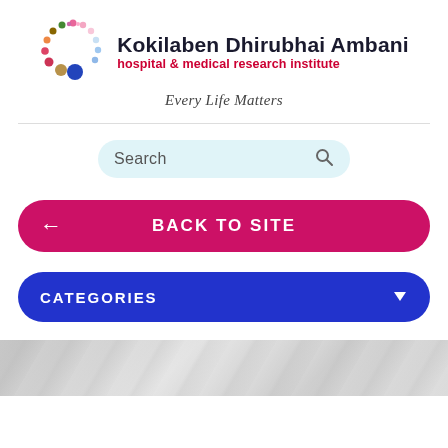[Figure (logo): Kokilaben Dhirubhai Ambani Hospital & Medical Research Institute logo with colorful circular dot pattern and tagline 'Every Life Matters']
Search
← BACK TO SITE
CATEGORIES ▼
[Figure (photo): Partial grayscale image at the bottom, appears to show draped fabric or a person]